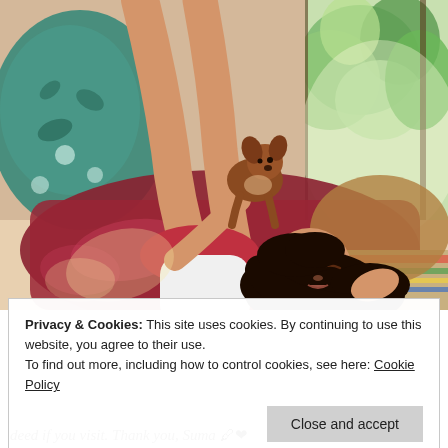[Figure (illustration): Digital illustration of a young woman with dark hair lying on colorful cushions/pillows near a window with green foliage outside, holding a small brown dog (Chihuahua) up in the air. Light dapples through the window. She wears a white tank top and red shorts.]
Privacy & Cookies: This site uses cookies. By continuing to use this website, you agree to their use.
To find out more, including how to control cookies, see here: Cookie Policy
Close and accept
deed if you visit. Thank you, Suma 🖊❤